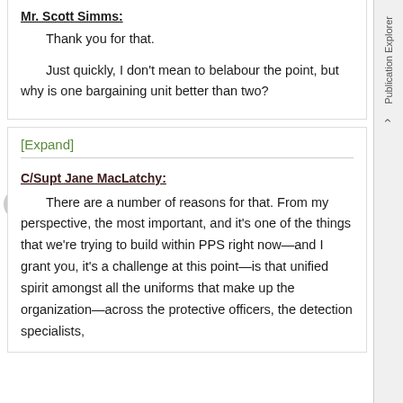Mr. Scott Simms:
Thank you for that.
Just quickly, I don't mean to belabour the point, but why is one bargaining unit better than two?
[Expand]
C/Supt Jane MacLatchy:
There are a number of reasons for that. From my perspective, the most important, and it's one of the things that we're trying to build within PPS right now—and I grant you, it's a challenge at this point—is that unified spirit amongst all the uniforms that make up the organization—across the protective officers, the detection specialists,